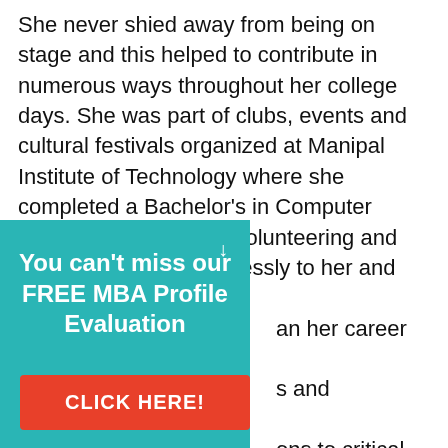She never shied away from being on stage and this helped to contribute in numerous ways throughout her college days. She was part of clubs, events and cultural festivals organized at Manipal Institute of Technology where she completed a Bachelor's in Computer Science Engineering. Volunteering and organizing came effortlessly to her and this helped an her career at Deloitte and recognitions ons to critical projects, s globally and her among her peers. She he 4 years that she spent nsured that she could hoicest of MBA programs.
[Figure (infographic): Teal promotional box with text 'You can't miss our FREE MBA Profile Evaluation' and a red 'CLICK HERE!' button]